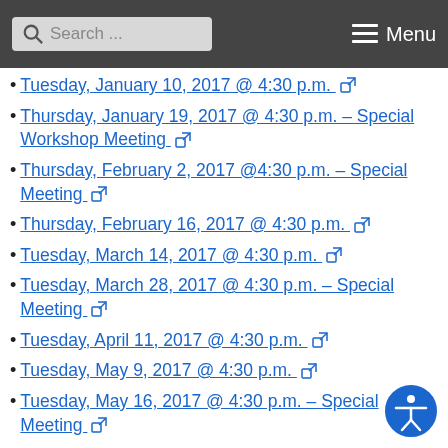Search ... Menu
Tuesday, January 10, 2017 @ 4:30 p.m.
Thursday, January 19, 2017 @ 4:30 p.m. – Special Workshop Meeting
Thursday, February 2, 2017 @4:30 p.m. – Special Meeting
Thursday, February 16, 2017 @ 4:30 p.m.
Tuesday, March 14, 2017 @ 4:30 p.m.
Tuesday, March 28, 2017 @ 4:30 p.m. – Special Meeting
Tuesday, April 11, 2017 @ 4:30 p.m.
Tuesday, May 9, 2017 @ 4:30 p.m.
Tuesday, May 16, 2017 @ 4:30 p.m. – Special Meeting
Thurday, May 18, 2017 @ 3:30 p.m. – Special